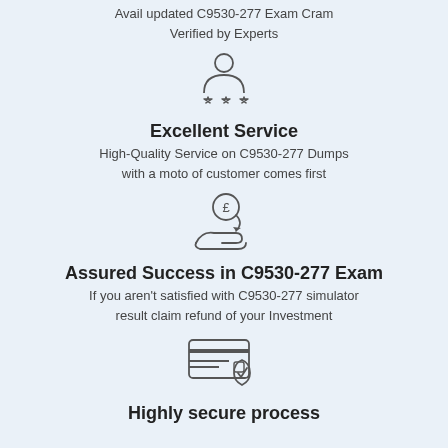Avail updated C9530-277 Exam Cram
Verified by Experts
[Figure (illustration): Person icon with three stars below, representing expert rating]
Excellent Service
High-Quality Service on C9530-277 Dumps
with a moto of customer comes first
[Figure (illustration): Hand holding a coin with pound sign, representing money back / refund]
Assured Success in C9530-277 Exam
If you aren't satisfied with C9530-277 simulator
result claim refund of your Investment
[Figure (illustration): Credit card with shield and checkmark, representing secure payment]
Highly secure process